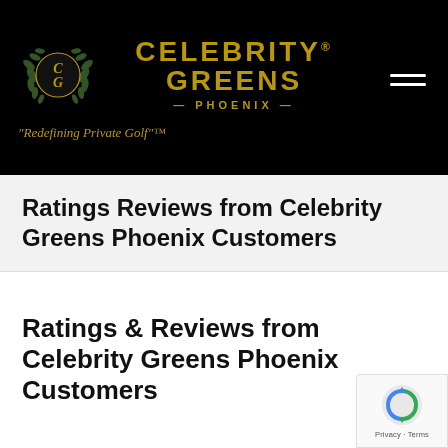[Figure (logo): Celebrity Greens Phoenix logo on black background with gold CG emblem surrounded by laurel wreaths, gold text CELEBRITY GREENS and — PHOENIX —, hamburger menu icon, and tagline 'Redefining Private Golf'™]
Ratings Reviews from Celebrity Greens Phoenix Customers
Ratings & Reviews from Celebrity Greens Phoenix Customers